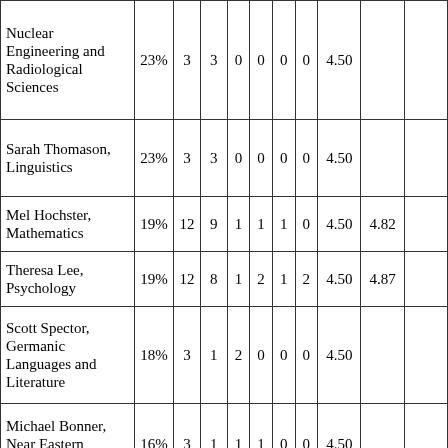| Nuclear Engineering and Radiological Sciences | 23% | 3 | 3 | 0 | 0 | 0 | 0 | 4.50 |  |  |
| Sarah Thomason, Linguistics | 23% | 3 | 3 | 0 | 0 | 0 | 0 | 4.50 |  |  |
| Mel Hochster, Mathematics | 19% | 12 | 9 | 1 | 1 | 1 | 0 | 4.50 | 4.82 |  |
| Theresa Lee, Psychology | 19% | 12 | 8 | 1 | 2 | 1 | 2 | 4.50 | 4.87 |  |
| Scott Spector, Germanic Languages and Literature | 18% | 3 | 1 | 2 | 0 | 0 | 0 | 4.50 |  |  |
| Michael Bonner, Near Eastern Studies | 16% | 3 | 1 | 1 | 1 | 0 | 0 | 4.50 |  |  |
| Linda Tesar, Economics | 12% | 4 | 3 | 0 | 0 | 1 | 0 | 4.50 | 4.75 |  |
| Carol Bradford, Otolaryngology | 25% | 4 | 5 | 0 | 0 | 0 | 0 | 4.40 | 4.58 |  |